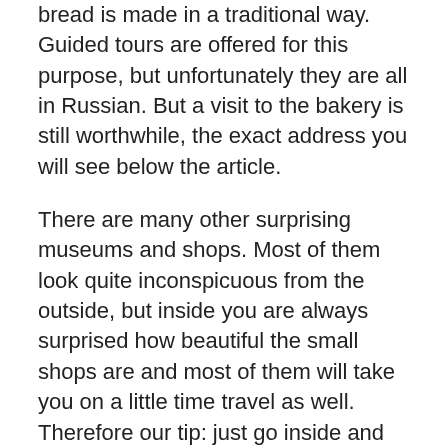bread is made in a traditional way. Guided tours are offered for this purpose, but unfortunately they are all in Russian. But a visit to the bakery is still worthwhile, the exact address you will see below the article.
There are many other surprising museums and shops. Most of them look quite inconspicuous from the outside, but inside you are always surprised how beautiful the small shops are and most of them will take you on a little time travel as well. Therefore our tip: just go inside and get surprised. Have fun exploring and let us know what is your favourite one.